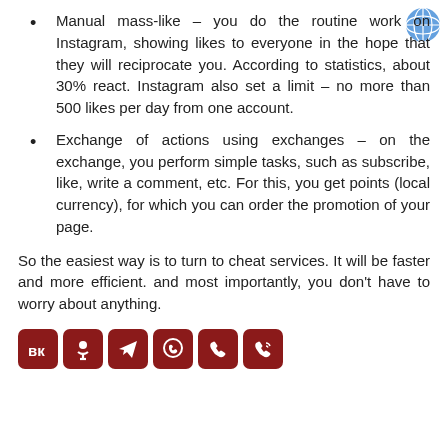Manual mass-like – you do the routine work on Instagram, showing likes to everyone in the hope that they will reciprocate you. According to statistics, about 30% react. Instagram also set a limit – no more than 500 likes per day from one account.
Exchange of actions using exchanges – on the exchange, you perform simple tasks, such as subscribe, like, write a comment, etc. For this, you get points (local currency), for which you can order the promotion of your page.
So the easiest way is to turn to cheat services. It will be faster and more efficient. and most importantly, you don't have to worry about anything.
[Figure (infographic): Row of six dark red social media icon buttons: VK, Odnoklassniki, Telegram, WhatsApp, phone/call, and another call icon]